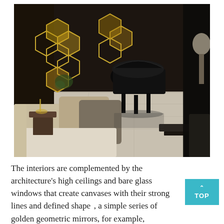[Figure (photo): Interior design photo showing a luxurious living room with a grand piano, geometric golden honeycomb mirrors on dark walls, marble flooring, cream upholstered sofa with beige and grey cushions, and black reflective surfaces. Elegant contemporary decor with high ceilings.]
The interiors are complemented by the architecture's high ceilings and bare glass windows that create canvases with their strong lines and defined shapes, a simple series of golden geometric mirrors, for example,